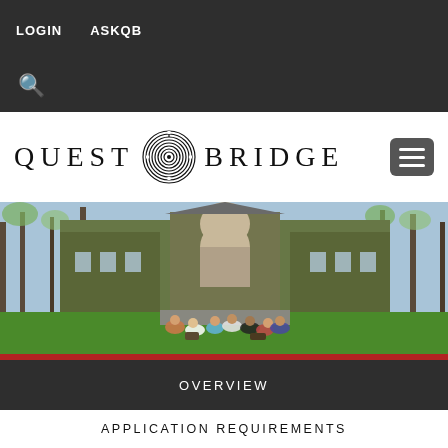LOGIN   ASKQB
[Figure (logo): QuestBridge logo with labyrinth emblem between the words QUEST and BRIDGE]
[Figure (photo): Students sitting in a circle on grass in front of an ivy-covered university building]
OVERVIEW
APPLICATION REQUIREMENTS